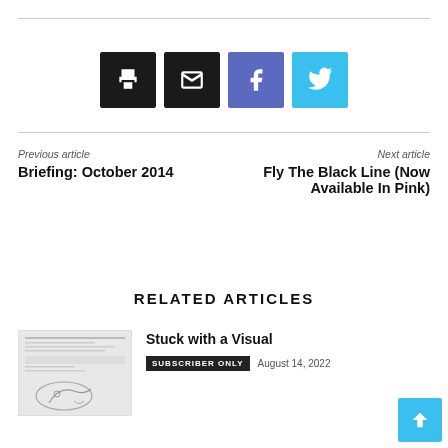[Figure (infographic): Row of four share buttons: print (black), email (black), Facebook (blue-purple), Twitter (light blue)]
Previous article
Briefing: October 2014
Next article
Fly The Black Line (Now Available In Pink)
RELATED ARTICLES
[Figure (screenshot): Thumbnail image of a document page with handwritten/printed text and a chart or map sketch]
Stuck with a Visual
SUBSCRIBER ONLY   August 14, 2022